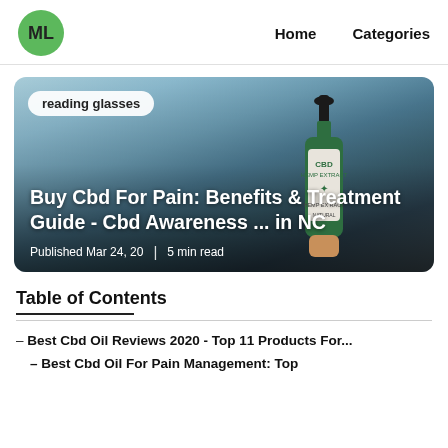ML  Home  Categories
[Figure (photo): Hero card showing a hand holding a CBD oil dropper bottle against a blurred outdoor background with mountains and water. Tag pill reads 'reading glasses'. Title: 'Buy Cbd For Pain: Benefits & Treatment Guide - Cbd Awareness ... in NC'. Published Mar 24, 20 | 5 min read.]
Table of Contents
– Best Cbd Oil Reviews 2020 - Top 11 Products For...
– Best Cbd Oil For Pain Management: Top